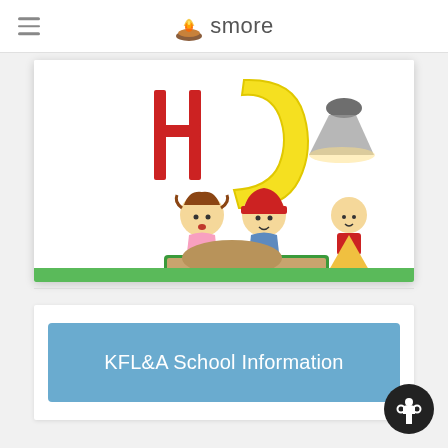smore
[Figure (illustration): Cartoon children playing in a sandbox with colorful letters in the background, clip-art style school illustration]
KFL&A School Information